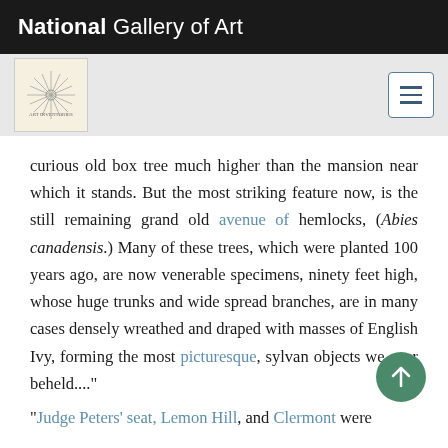National Gallery of Art
[Figure (logo): Art Inventories Catalog logo with starburst design]
curious old box tree much higher than the mansion near which it stands. But the most striking feature now, is the still remaining grand old avenue of hemlocks, (Abies canadensis.) Many of these trees, which were planted 100 years ago, are now venerable specimens, ninety feet high, whose huge trunks and wide spread branches, are in many cases densely wreathed and draped with masses of English Ivy, forming the most picturesque, sylvan objects we ever beheld...."
"Judge Peters' seat, Lemon Hill, and Clermont were